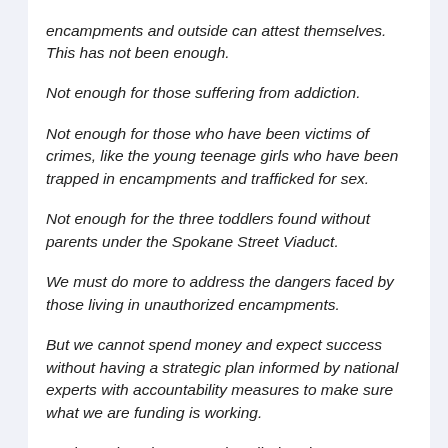encampments and outside can attest themselves. This has not been enough.
Not enough for those suffering from addiction.
Not enough for those who have been victims of crimes, like the young teenage girls who have been trapped in encampments and trafficked for sex.
Not enough for the three toddlers found without parents under the Spokane Street Viaduct.
We must do more to address the dangers faced by those living in unauthorized encampments.
But we cannot spend money and expect success without having a strategic plan informed by national experts with accountability measures to make sure what we are funding is working.
We have that plan now. It is called Pathways